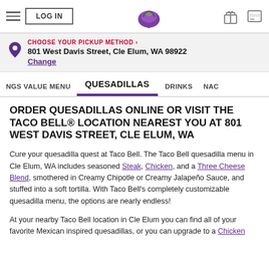LOG IN | Taco Bell Logo | Gift icon | Card icon
CHOOSE YOUR PICKUP METHOD › 801 West Davis Street, Cle Elum, WA 98922 Change
NGS VALUE MENU  QUESADILLAS  DRINKS  NAC
ORDER QUESADILLAS ONLINE OR VISIT THE TACO BELL® LOCATION NEAREST YOU AT 801 WEST DAVIS STREET, CLE ELUM, WA
Cure your quesadilla quest at Taco Bell. The Taco Bell quesadilla menu in Cle Elum, WA includes seasoned Steak, Chicken, and a Three Cheese Blend, smothered in Creamy Chipotle or Creamy Jalapeño Sauce, and stuffed into a soft tortilla. With Taco Bell's completely customizable quesadilla menu, the options are nearly endless!
At your nearby Taco Bell location in Cle Elum you can find all of your favorite Mexican inspired quesadillas, or you can upgrade to a Chicken